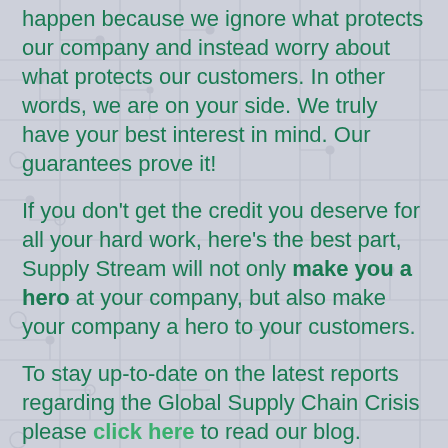happen because we ignore what protects our company and instead worry about what protects our customers. In other words, we are on your side. We truly have your best interest in mind. Our guarantees prove it!
If you don't get the credit you deserve for all your hard work, here's the best part, Supply Stream will not only make you a hero at your company, but also make your company a hero to your customers.
To stay up-to-date on the latest reports regarding the Global Supply Chain Crisis please click here to read our blog.